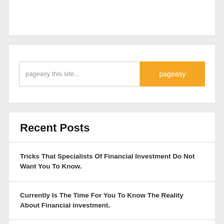[Figure (other): White rectangular box at top of page, appears to be a header/banner area]
pageasy this site...
pageasy
Recent Posts
Tricks That Specialists Of Financial Investment Do Not Want You To Know.
Currently Is The Time For You To Know The Reality About Financial investment.
Home Financial Investment Tips You Required To Learn Currently.